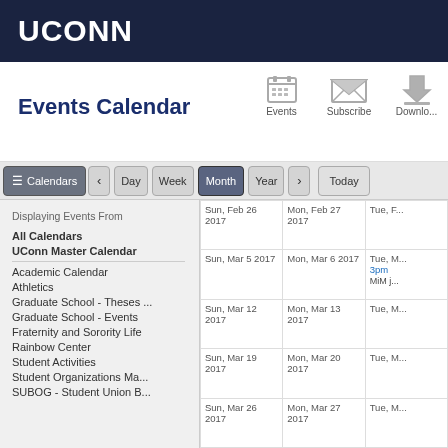UCONN
Events Calendar
Events   Subscribe   Download
Calendars  <  Day  Week  Month  Year  >  Today
Displaying Events From
All Calendars
UConn Master Calendar
Academic Calendar
Athletics
Graduate School - Theses ...
Graduate School - Events
Fraternity and Sorority Life
Rainbow Center
Student Activities
Student Organizations Ma...
SUBOG - Student Union B...
| Sun | Mon | Tue |
| --- | --- | --- |
| Sun, Feb 26 2017 | Mon, Feb 27 2017 | Tue, F... |
| Sun, Mar 5 2017 | Mon, Mar 6 2017 | Tue, M...
3pm
MiM j... |
| Sun, Mar 12 2017 | Mon, Mar 13 2017 | Tue, M... |
| Sun, Mar 19 2017 | Mon, Mar 20 2017 | Tue, M... |
| Sun, Mar 26 2017 | Mon, Mar 27 2017 | Tue, M... |